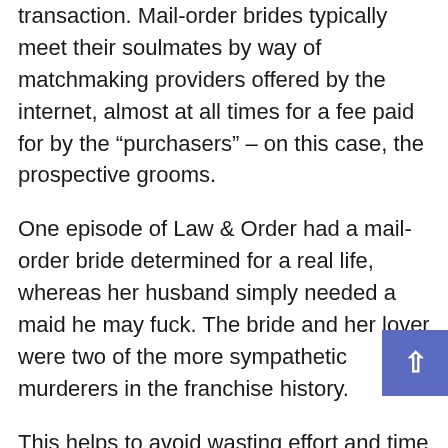transaction. Mail-order brides typically meet their soulmates by way of matchmaking providers offered by the internet, almost at all times for a fee paid for by the “purchasers” – on this case, the prospective grooms.
One episode of Law & Order had a mail-order bride determined for a real life, whereas her husband simply needed a maid he may fuck. The bride and her lover were two of the more sympathetic murderers in the franchise history.
This helps to avoid wasting effort and time and to find the woman of your desires much faster. And one of the best ways for a woman to emigrate is to marry a overseas man. Evaluate results, verify attention-grabbing profiles, select the woman you like, and start communication. Professional online support guaranteeing a refund in case of fraud. At this matching platform, you’ll have the ability to improve your possibilities to seek out your soul